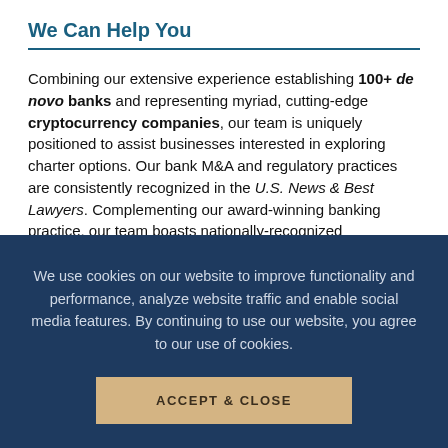We Can Help You
Combining our extensive experience establishing 100+ de novo banks and representing myriad, cutting-edge cryptocurrency companies, our team is uniquely positioned to assist businesses interested in exploring charter options. Our bank M&A and regulatory practices are consistently recognized in the U.S. News & Best Lawyers. Complementing our award-winning banking practice, our team boasts nationally-recognized cryptocurrency and FinTech practitioners. Whether it is traditional banking or the future...
We use cookies on our website to improve functionality and performance, analyze website traffic and enable social media features. By continuing to use our website, you agree to our use of cookies.
ACCEPT & CLOSE